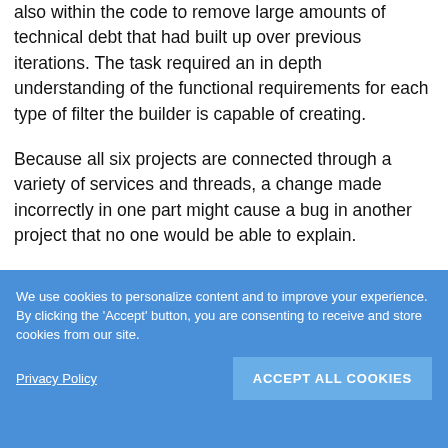also within the code to remove large amounts of technical debt that had built up over previous iterations. The task required an in depth understanding of the functional requirements for each type of filter the builder is capable of creating.
Because all six projects are connected through a variety of services and threads, a change made incorrectly in one part might cause a bug in another project that no one would be able to explain.
We use cookies to personalize content and to improve your experience. By clicking the 'Accept' button, you are consenting to receive and store cookies from our site.
Privacy Policy
ACCEPT ALL COOKIES